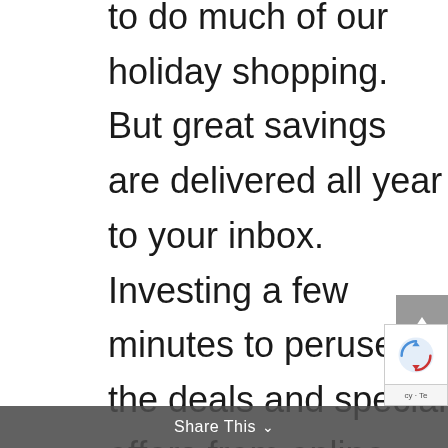to do much of our holiday shopping. But great savings are delivered all year to your inbox. Investing a few minutes to peruse the deals and special offers from online retailers can convert to substantial savings that are kind to your budget.

When you do shop in stores, always bring a list and stick to your budget the same as you do when shopping